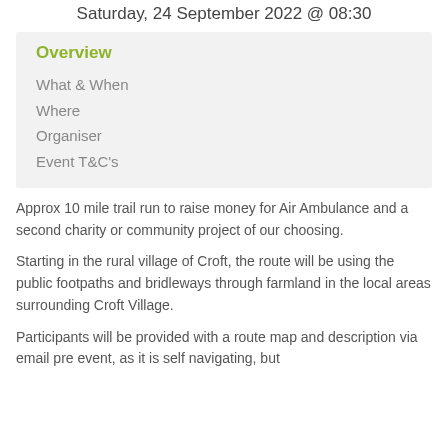Saturday, 24 September 2022 @ 08:30
Overview
What & When
Where
Organiser
Event T&C's
Approx 10 mile trail run to raise money for Air Ambulance and a second charity or community project of our choosing.
Starting in the rural village of Croft, the route will be using the public footpaths and bridleways through farmland in the local areas surrounding Croft Village.
Participants will be provided with a route map and description via email pre event, as it is self navigating, but